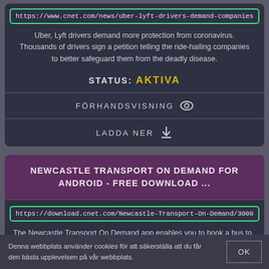https://www.cnet.com/news/uber-lyft-drivers-demand-companies-do-mo
Uber, Lyft drivers demand more protection from coronavirus. Thousands of drivers sign a petition telling the ride-hailing companies to better safeguard them from the deadly disease.
STATUS: AKTIVA
FÖRHANDSVISNING
LADDA NER
NEWCASTLE TRANSPORT ON DEMAND FOR ANDROID - FREE DOWNLOAD ...
https://download.cnet.com/Newcastle-Transport-On-Demand/3000-2042
The Newcastle Transport On Demand app enables you to book a bus to and
Denna webbplats använder cookies för att säkerställa att du får den bästa upplevelsen på vår webbplats.